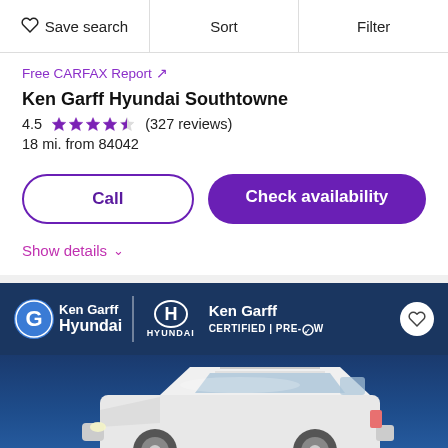Save search  Sort  Filter
Free CARFAX Report ↗
Ken Garff Hyundai Southtowne
4.5 ★★★★☆ (327 reviews)
18 mi. from 84042
Call
Check availability
Show details ∨
[Figure (photo): Ken Garff Hyundai dealership banner with logo, Hyundai logo, 'Ken Garff CERTIFIED PRE-OW' text, and a white SUV (Hyundai) on a blue background]